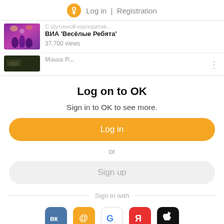Log in | Registration
[Figure (screenshot): Partially visible video thumbnail showing a concert scene with colorful lights and performers, with Russian text title partially cut off at top, and title 'ВИА «Весёлые Ребята»' with '37,700 views']
ВИА 'Весёлые Ребята'
37,700 views
Log on to OK
Sign in to OK to see more.
Log in
or
Sign up
Sign in with
[Figure (infographic): Row of social login icons: VK (blue), Mail.ru (@, orange), Google (G, white/colorful), Yandex (Я, red), Apple (apple logo, black)]